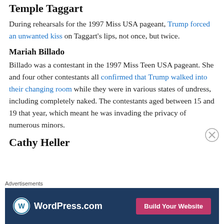Temple Taggart
During rehearsals for the 1997 Miss USA pageant, Trump forced an unwanted kiss on Taggart's lips, not once, but twice.
Mariah Billado
Billado was a contestant in the 1997 Miss Teen USA pageant. She and four other contestants all confirmed that Trump walked into their changing room while they were in various states of undress, including completely naked. The contestants aged between 15 and 19 that year, which meant he was invading the privacy of numerous minors.
Cathy Heller
[Figure (other): WordPress.com advertisement banner with logo and 'Build Your Website' button]